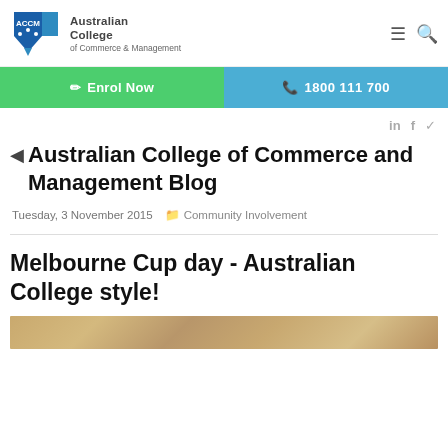[Figure (logo): ACCM Australian College of Commerce & Management logo with navigation icons]
[Figure (infographic): Green Enrol Now button and blue 1800 111 700 phone button CTA bar]
in f ✓ (social icons: LinkedIn, Facebook, Twitter)
Australian College of Commerce and Management Blog
Tuesday, 3 November 2015   Community Involvement
Melbourne Cup day - Australian College style!
[Figure (photo): Partial view of a light brown/tan textured image, appearing to be a Melbourne Cup themed photo]